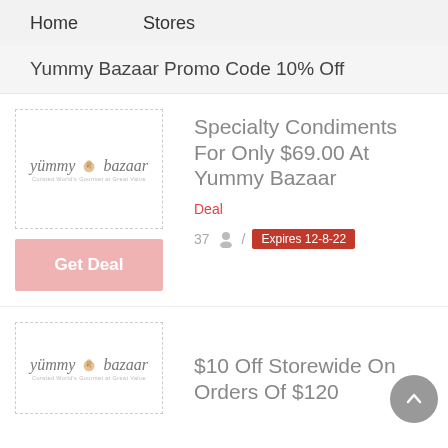Home    Stores
Yummy Bazaar Promo Code 10% Off
[Figure (logo): Yummy Bazaar logo with italic brand name and small leaf/cookie icon]
Specialty Condiments For Only $69.00 At Yummy Bazaar
Deal
37  /  Expires 12-8-22
Get Deal
[Figure (logo): Yummy Bazaar logo with italic brand name and small leaf/cookie icon]
$10 Off Storewide On Orders Of $120